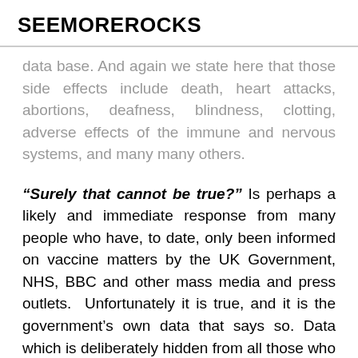SEEMOREROCKS
data base. And again we state here that those side effects include death, heart attacks, abortions, deafness, blindness, clotting, adverse effects of the immune and nervous systems, and many many others.
“Surely that cannot be true?” Is perhaps a likely and immediate response from many people who have, to date, only been informed on vaccine matters by the UK Government, NHS, BBC and other mass media and press outlets. Unfortunately it is true, and it is the government’s own data that says so. Data which is deliberately hidden from all those who do not search for